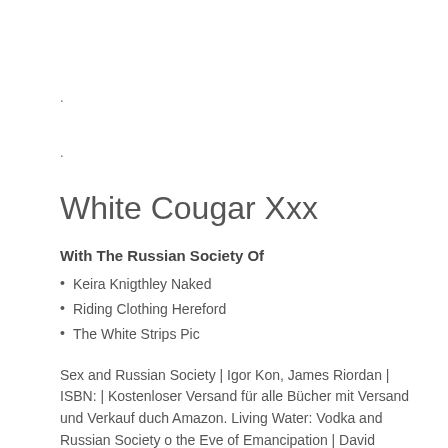.
.
White Cougar Xxx
With The Russian Society Of
Keira Knigthley Naked
Riding Clothing Hereford
The White Strips Pic
Sex and Russian Society | Igor Kon, James Riordan | ISBN: | Kostenloser Versand für alle Bücher mit Versand und Verkauf duch Amazon. Living Water: Vodka and Russian Society o the Eve of Emancipation | David Christian | ISBN: |